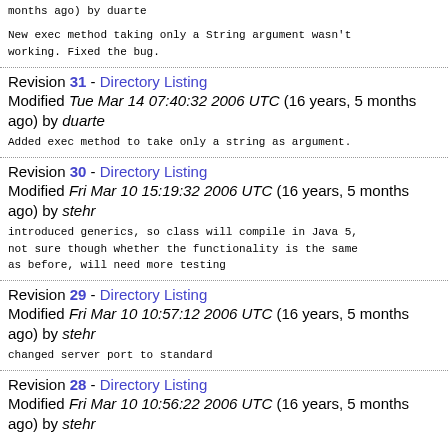months ago) by duarte
New exec method taking only a String argument wasn't working. Fixed the bug.
Revision 31 - Directory Listing
Modified Tue Mar 14 07:40:32 2006 UTC (16 years, 5 months ago) by duarte
Added exec method to take only a string as argument.
Revision 30 - Directory Listing
Modified Fri Mar 10 15:19:32 2006 UTC (16 years, 5 months ago) by stehr
introduced generics, so class will compile in Java 5, not sure though whether the functionality is the same as before, will need more testing
Revision 29 - Directory Listing
Modified Fri Mar 10 10:57:12 2006 UTC (16 years, 5 months ago) by stehr
changed server port to standard
Revision 28 - Directory Listing
Modified Fri Mar 10 10:56:22 2006 UTC (16 years, 5 months ago) by stehr